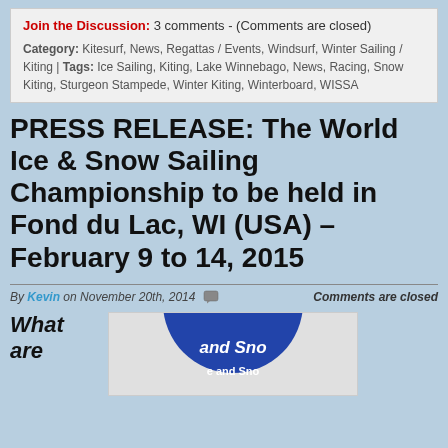Join the Discussion: 3 comments - (Comments are closed)
Category: Kitesurf, News, Regattas / Events, Windsurf, Winter Sailing / Kiting | Tags: Ice Sailing, Kiting, Lake Winnebago, News, Racing, Snow Kiting, Sturgeon Stampede, Winter Kiting, Winterboard, WISSA
PRESS RELEASE: The World Ice & Snow Sailing Championship to be held in Fond du Lac, WI (USA) – February 9 to 14, 2015
By Kevin on November 20th, 2014   Comments are closed
What are
[Figure (logo): Circular logo with blue background showing partial text 'and Sno' visible]